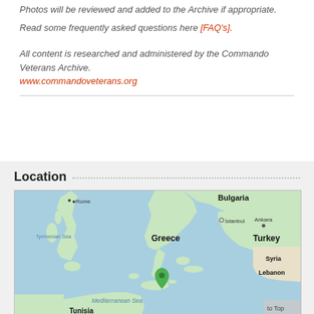Photos will be reviewed and added to the Archive if appropriate.
Read some frequently asked questions here [FAQ's].
All content is researched and administered by the Commando Veterans Archive.
www.commandoveterans.org
Location
[Figure (map): Google Maps view showing Mediterranean region including Greece, Turkey, Bulgaria, Italy, Tunisia, Syria, Lebanon. A green map pin marker is placed in the Mediterranean Sea south of Greece (Crete area). Labels include: Rome, Bulgaria, Tyrrhenian Sea, Istanbul, Ankara, Greece, Turkey, Tunisia, Mediterranean Sea, Syria, Lebanon.]